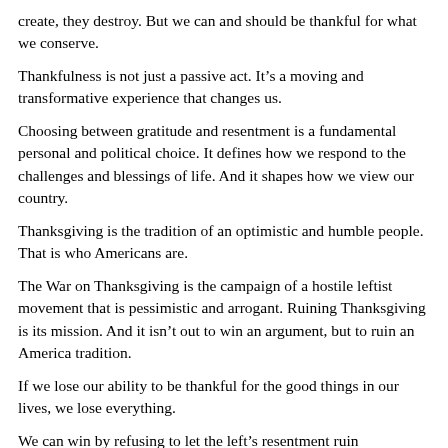create, they destroy. But we can and should be thankful for what we conserve.
Thankfulness is not just a passive act. It’s a moving and transformative experience that changes us.
Choosing between gratitude and resentment is a fundamental personal and political choice. It defines how we respond to the challenges and blessings of life. And it shapes how we view our country.
Thanksgiving is the tradition of an optimistic and humble people. That is who Americans are.
The War on Thanksgiving is the campaign of a hostile leftist movement that is pessimistic and arrogant. Ruining Thanksgiving is its mission. And it isn’t out to win an argument, but to ruin an America tradition.
If we lose our ability to be thankful for the good things in our lives, we lose everything.
We can win by refusing to let the left’s resentment ruin Thanksgiving. We can win by remembering that Thanksgiving is not just an occasion, but a tradition whose attitudes give us strength and meaning. We can win by finding the power to live our